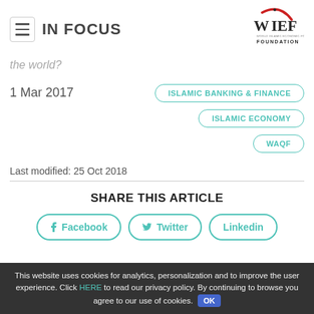IN FOCUS
[Figure (logo): WIEF Foundation logo with red arc and green text]
the world?
1 Mar 2017
ISLAMIC BANKING & FINANCE
ISLAMIC ECONOMY
WAQF
Last modified: 25 Oct 2018
SHARE THIS ARTICLE
Facebook
Twitter
Linkedin
This website uses cookies for analytics, personalization and to improve the user experience. Click HERE to read our privacy policy. By continuing to browse you agree to our use of cookies. OK